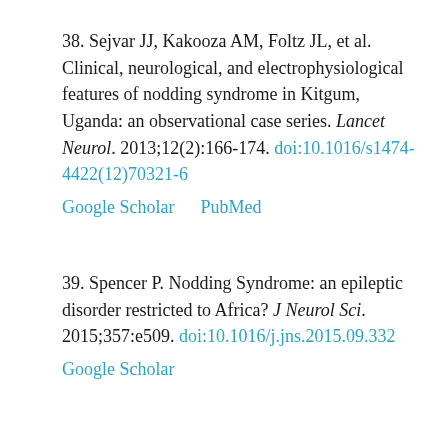38. Sejvar JJ, Kakooza AM, Foltz JL, et al. Clinical, neurological, and electrophysiological features of nodding syndrome in Kitgum, Uganda: an observational case series. Lancet Neurol. 2013;12(2):166-174. doi:10.1016/s1474-4422(12)70321-6 Google Scholar PubMed
39. Spencer P. Nodding Syndrome: an epileptic disorder restricted to Africa? J Neurol Sci. 2015;357:e509. doi:10.1016/j.jns.2015.09.332 Google Scholar